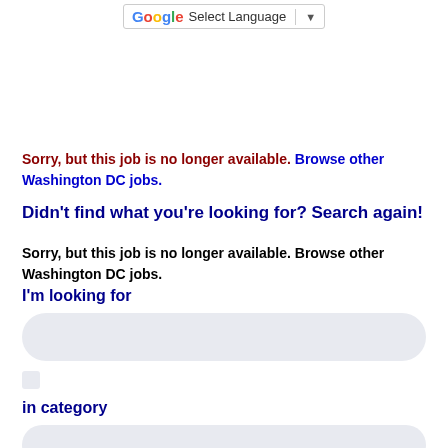G Select Language ▼
Sorry, but this job is no longer available. Browse other Washington DC jobs.
Didn't find what you're looking for? Search again!
Sorry, but this job is no longer available. Browse other Washington DC jobs.
I'm looking for
in category
All...